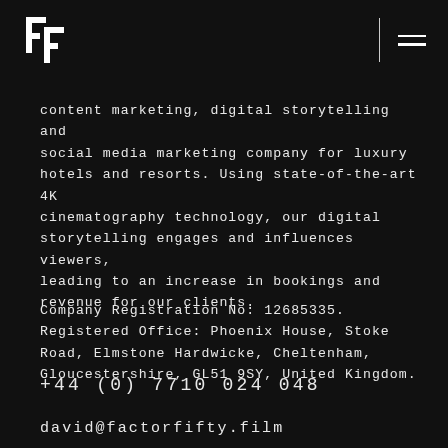[Figure (logo): Factor Fifty double-F logo in white on black background, top left]
content marketing, digital storytelling and social media marketing company for luxury hotels and resorts. Using state-of-the-art 4K cinematography technology, our digital storytelling engages and influences viewers, leading to an increase in bookings and revenue for our clients.
Company Registration No: 12685335. Registered Office: Phoenix House, Stoke Road, Elmstone Hardwicke, Cheltenham, Gloucestershire, GL51 9SY, United Kingdom.
+44 (0) 7710 024 048
david@factorfifty.film